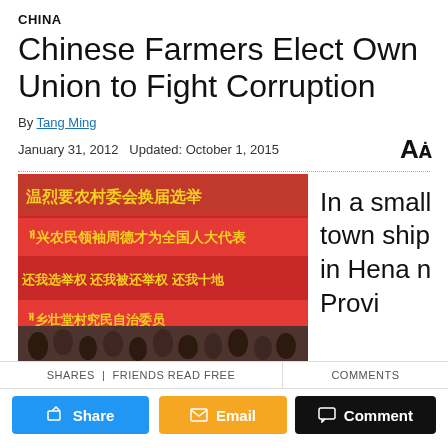CHINA
Chinese Farmers Elect Own Union to Fight Corruption
By Tang Ming
January 31, 2012   Updated: October 1, 2015
[Figure (photo): Crowd of Chinese farmers gathered in front of large red banners with yellow Chinese characters in a small township in Henan Province]
In a small township in Henan Provi
SHARES | FRIENDS READ FREE
COMMENTS
Share
Email
Comment